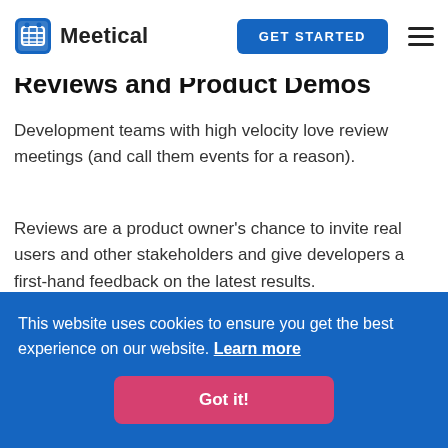Meetical | GET STARTED
Reviews and Product Demos
Development teams with high velocity love review meetings (and call them events for a reason).
Reviews are a product owner's chance to invite real users and other stakeholders and give developers a first-hand feedback on the latest results.
Other product demos are a great opportunity to
This website uses cookies to ensure you get the best experience on our website. Learn more
Got it!
a note taker assigend. Better over-document this